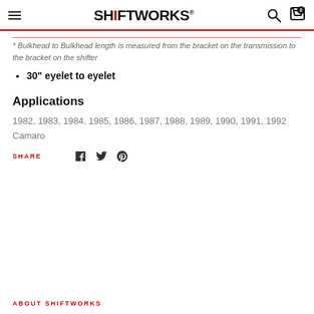SHIFTWORKS
* Bulkhead to Bulkhead length is measured from the bracket on the transmission to the bracket on the shifter
30" eyelet to eyelet
Applications
1982, 1983, 1984, 1985, 1986, 1987, 1988, 1989, 1990, 1991, 1992 Camaro
SHARE
ABOUT SHIFTWORKS